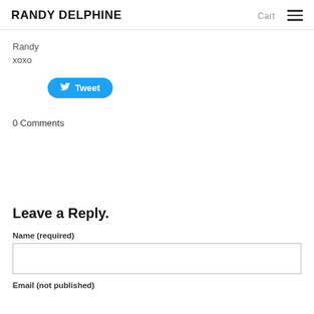RANDY DELPHINE  Cart  ☰
Randy
xoxo
[Figure (other): Twitter Tweet button in blue with bird icon and text 'Tweet']
0 Comments
Leave a Reply.
Name (required)
Email (not published)